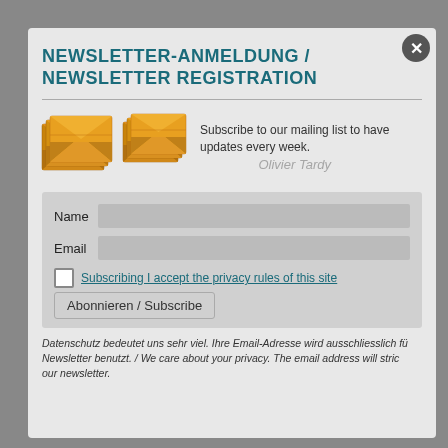NEWSLETTER-ANMELDUNG / NEWSLETTER REGISTRATION
[Figure (illustration): Two stacks of orange envelope icons representing email/newsletter]
Subscribe to our mailing list to have updates every week.
Name
Email
Subscribing I accept the privacy rules of this site
Abonnieren / Subscribe
Datenschutz bedeutet uns sehr viel. Ihre Email-Adresse wird ausschliesslich für unseren Newsletter benutzt. / We care about your privacy. The email address will strictly be used for our newsletter.